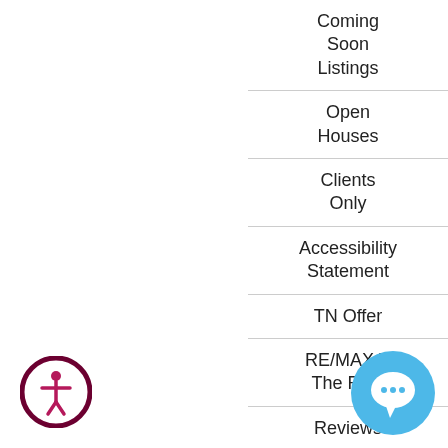Coming Soon Listings
Open Houses
Clients Only
Accessibility Statement
TN Offer
RE/MAX V The Rest
Reviews
Auction Listings
[Figure (logo): Accessibility icon — circular badge with human figure, dark pink/crimson gradient border on white background]
[Figure (logo): Chat/support bubble icon — blue circular button with speech bubble symbol]